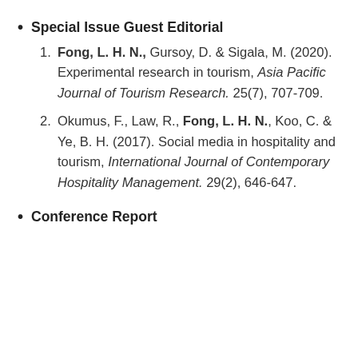Special Issue Guest Editorial
Fong, L. H. N., Gursoy, D. & Sigala, M. (2020). Experimental research in tourism, Asia Pacific Journal of Tourism Research. 25(7), 707-709.
Okumus, F., Law, R., Fong, L. H. N., Koo, C. & Ye, B. H. (2017). Social media in hospitality and tourism, International Journal of Contemporary Hospitality Management. 29(2), 646-647.
Conference Report